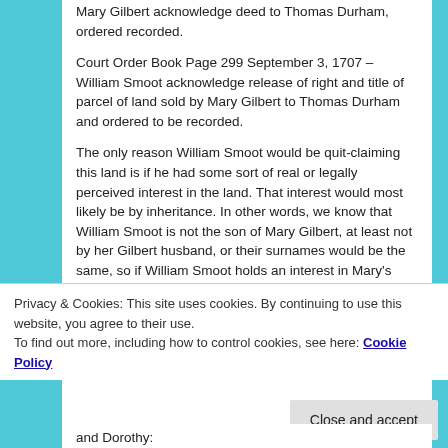Mary Gilbert acknowledge deed to Thomas Durham, ordered recorded.
Court Order Book Page 299 September 3, 1707 – William Smoot acknowledge release of right and title of parcel of land sold by Mary Gilbert to Thomas Durham and ordered to be recorded.
The only reason William Smoot would be quit-claiming this land is if he had some sort of real or legally perceived interest in the land. That interest would most likely be by inheritance. In other words, we know that William Smoot is not the son of Mary Gilbert, at least not by her Gilbert husband, or their surnames would be the same, so if William Smoot holds an interest in Mary's land, it would
Privacy & Cookies: This site uses cookies. By continuing to use this website, you agree to their use.
To find out more, including how to control cookies, see here: Cookie Policy
Close and accept
and Dorothy: